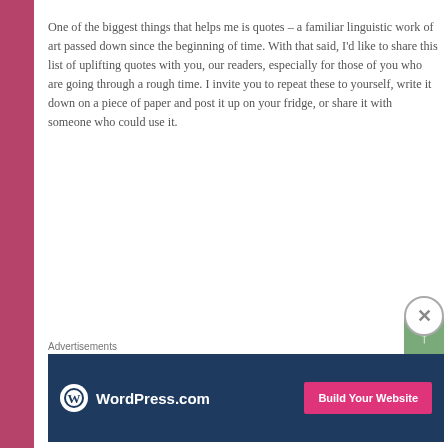One of the biggest things that helps me is quotes – a familiar linguistic work of art passed down since the beginning of time. With that said, I'd like to share this list of uplifting quotes with you, our readers, especially for those of you who are going through a rough time. I invite you to repeat these to yourself, write it down on a piece of paper and post it up on your fridge, or share it with someone who could use it.
Our hearts go out to the o...
Advertisements
[Figure (other): WordPress.com advertisement banner with logo and 'Build Your Website' pink button on dark blue background]